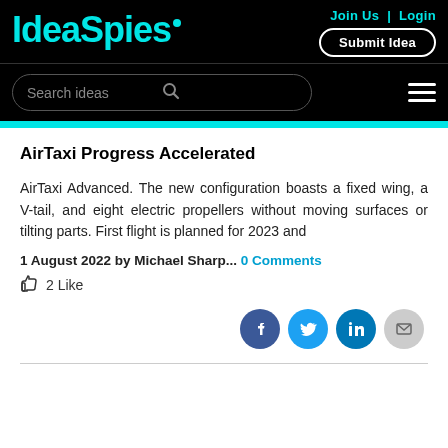IdeaSpies — Join Us | Login | Submit Idea
AirTaxi Progress Accelerated
AirTaxi Advanced. The new configuration boasts a fixed wing, a V-tail, and eight electric propellers without moving surfaces or tilting parts. First flight is planned for 2023 and
1 August 2022 by Michael Sharp... 0 Comments
2 Like